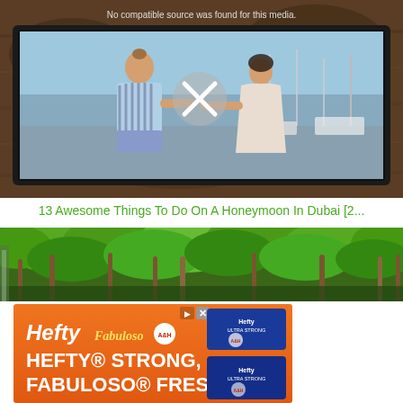[Figure (screenshot): Video player screenshot showing a couple at a harbor with an error overlay 'No compatible source was found for this media.' and an X icon, displayed on a tablet on a wooden surface]
No compatible source was found for this media.
13 Awesome Things To Do On A Honeymoon In Dubai [2...
[Figure (photo): Photo of a lush green park or garden with tall palm trees and dense foliage]
[Figure (photo): Advertisement banner for Hefty Ultra Strong trash bags with Fabuloso fresh scent. Orange background with 'HEFTY STRONG, FABULOSO FRESH' text and product images.]